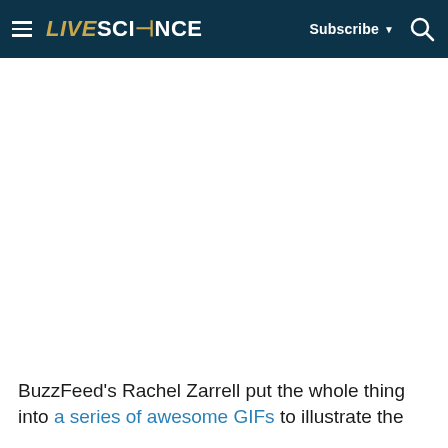LIVESCIENCE | Subscribe | Search
BuzzFeed's Rachel Zarrell put the whole thing into a series of awesome GIFs to illustrate the